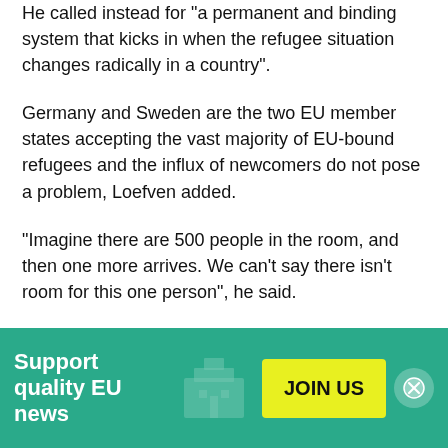He called instead for “a permanent and binding system that kicks in when the refugee situation changes radically in a country”.
Germany and Sweden are the two EU member states accepting the vast majority of EU-bound refugees and the influx of newcomers do not pose a problem, Loefven added.
"Imagine there are 500 people in the room, and then one more arrives. We can't say there isn’t room for this one person", he said.
The Swedish PM pointed out that in a global economy, it would be an advantage for Swedish trade in the long
[Figure (infographic): Green banner advertisement: 'Support quality EU news' with a yellow JOIN US button and a close (X) button on the right. Background shows a faint building/parliament icon.]